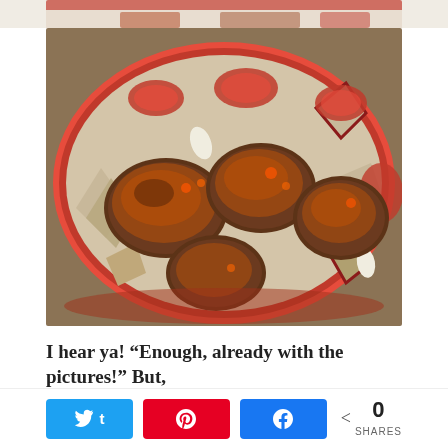[Figure (photo): Top strip of a food photo showing a red enameled dish with the edge visible at top]
[Figure (photo): Spiced chicken thighs with red potatoes, tomatoes, and garlic cloves in a red enameled oval roasting pan, viewed from above]
I hear ya! “Enough, already with the pictures!” But,
[Figure (infographic): Social share bar with Twitter, Pinterest, and Facebook buttons and a share count showing 0 SHARES]